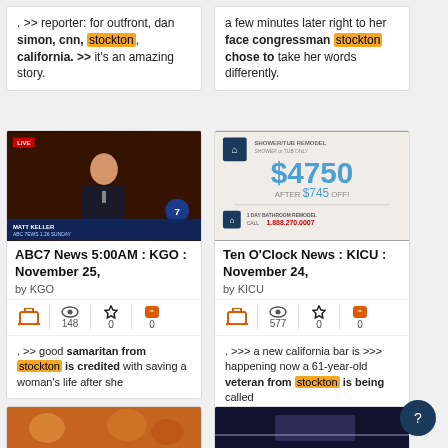. >> reporter: for outfront, dan simon, cnn, stockton, california. >> it's an amazing story.
a few minutes later right to her face congressman stockton chose to take her words differently.
[Figure (photo): News anchor on TV with LIVE badge, lower-third showing MATT KELLER, ABC7 News broadcast]
[Figure (photo): Advertisement for Shower/Tub Remodel: $4750 after $745 off, Call 1.888.270.0007]
ABC7 News 5:00AM : KGO : November 25,
by KGO
Ten O'Clock News : KICU : November 24,
by KICU
. >> good samaritan from stockton is credited with saving a woman's life after she
. >>> a new california bar is >>> happening now a 61-year-old veteran from stockton is being called
[Figure (photo): Crowd photo with orange tones]
[Figure (photo): Dark image with blue and grey tones]